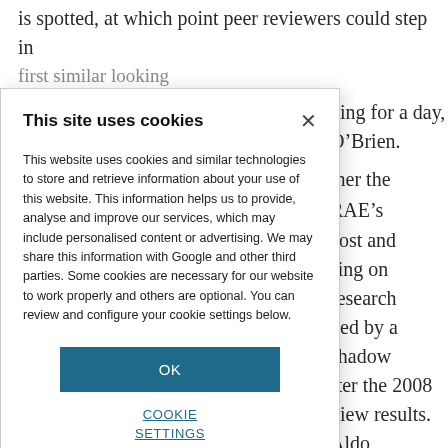is spotted, at which point peer reviewers could step in
king for a day, I'm O'Brien.
ther the RAE's cost and sing on research ded by a shadow fter the 2008 view results. Aldo ho has studied luation systems, based funding osts, over time ing returns, as to play the game
[Figure (screenshot): Cookie consent dialog overlay with title 'This site uses cookies', body text explaining cookie usage, an OK button, and a COOKIE SETTINGS link.]